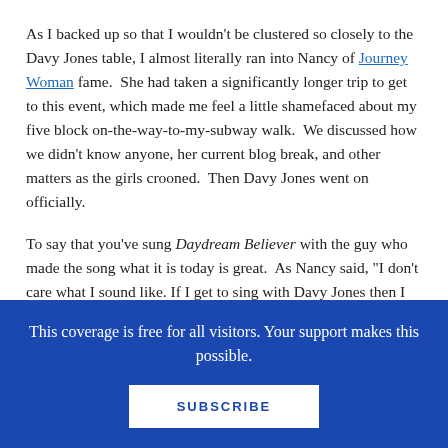As I backed up so that I wouldn't be clustered so closely to the Davy Jones table, I almost literally ran into Nancy of Journey Woman fame.  She had taken a significantly longer trip to get to this event, which made me feel a little shamefaced about my five block on-the-way-to-my-subway walk.  We discussed how we didn't know anyone, her current blog break, and other matters as the girls crooned.  Then Davy Jones went on officially.
To say that you've sung Daydream Believer with the guy who made the song what it is today is great.  As Nancy said, "I don't care what I sound like. If I get to sing with Davy Jones then I will."  Right on.  Davy was apparently a little ill, but as you can see, he threw himself into each song with aplomb.
This coverage is free for all visitors. Your support makes this possible.
SUBSCRIBE